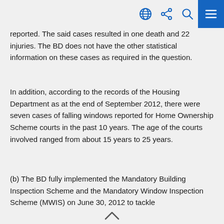Navigation bar with globe, share, search icons and hamburger menu
reported. The said cases resulted in one death and 22 injuries. The BD does not have the other statistical information on these cases as required in the question.
In addition, according to the records of the Housing Department as at the end of September 2012, there were seven cases of falling windows reported for Home Ownership Scheme courts in the past 10 years. The age of the courts involved ranged from about 15 years to 25 years.
(b) The BD fully implemented the Mandatory Building Inspection Scheme and the Mandatory Window Inspection Scheme (MWIS) on June 30, 2012 to tackle